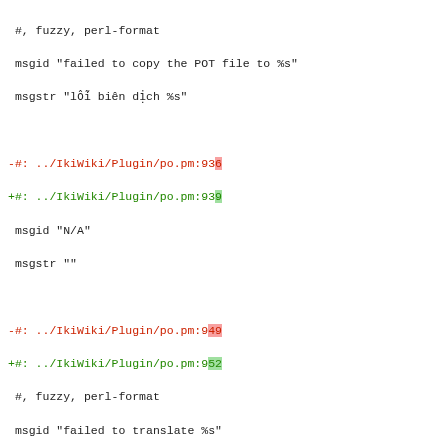#, fuzzy, perl-format
 msgid "failed to copy the POT file to %s"
 msgstr "lỗi biên dịch %s"

-#: ../IkiWiki/Plugin/po.pm:936
+#: ../IkiWiki/Plugin/po.pm:939
 msgid "N/A"
 msgstr ""

-#: ../IkiWiki/Plugin/po.pm:949
+#: ../IkiWiki/Plugin/po.pm:952
 #, fuzzy, perl-format
 msgid "failed to translate %s"
 msgstr "lỗi ghi %s: %s"

-#: ../IkiWiki/Plugin/po.pm:1033
+#: ../IkiWiki/Plugin/po.pm:1036
 msgid "removed obsolete PO files"
 msgstr ""

-#: ../IkiWiki/Plugin/po.pm:1089 ../IkiWiki/Plugin/po.pm:110
-#: ../IkiWiki/Plugin/po.pm:1142
+#: ../IkiWiki/Plugin/po.pm:1092 ../IkiWiki/Plugin/po.pm:110
+#: ../IkiWiki/Plugin/po.pm:1145
 #, fuzzy, perl-format
 msgid "failed to write %s"
 msgstr "lỗi ghi %s: %s"

-#: ../IkiWiki/Plugin/po.pm:1101
+#: ../IkiWiki/Plugin/po.pm:1104
 #, fuzzy
 msgid "failed to translate"